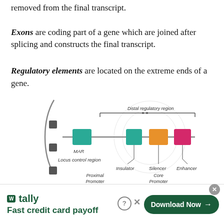removed from the final transcript.
Exons are coding part of a gene which are joined after splicing and constructs the final transcript.
Regulatory elements are located on the extreme ends of a gene.
[Figure (illustration): Diagram showing gene regulatory elements: a horizontal line representing a gene with colored blocks labeled Insulator (teal), Silencer (orange), Enhancer (pink/magenta), and MAR (teal, leftmost). A brace above spans the Distal regulatory region. On the left, a curved line with dark square blocks labels the Locus control region. Below the gene line, labels indicate Proximal Promoter and Core Promoter.]
tally Fast credit card payoff